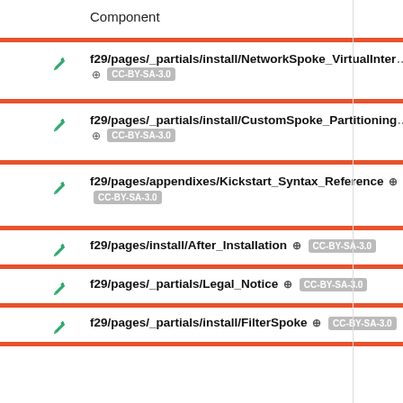Component
f29/pages/_partials/install/NetworkSpoke_VirtualInter... CC-BY-SA-3.0
f29/pages/_partials/install/CustomSpoke_Partitioning... CC-BY-SA-3.0
f29/pages/appendixes/Kickstart_Syntax_Reference CC-BY-SA-3.0
f29/pages/install/After_Installation CC-BY-SA-3.0
f29/pages/_partials/Legal_Notice CC-BY-SA-3.0
f29/pages/_partials/install/FilterSpoke CC-BY-SA-3.0